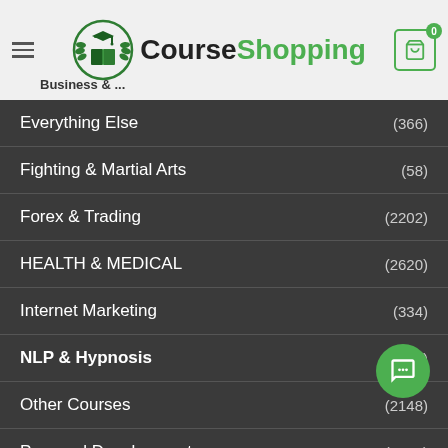[Figure (logo): CourseShopping website header with logo (graduation cap over open book with laurel wreath), site name 'CourseShopping', hamburger menu, and shopping cart icon showing 0 items]
Business & ...
Everything Else (366)
Fighting & Martial Arts (58)
Forex & Trading (2202)
HEALTH & MEDICAL (2620)
Internet Marketing (334)
NLP & Hypnosis (2101)
Other Courses (2148)
Personal Development (3076)
Real Estate (23)
Seduction & Love (912)